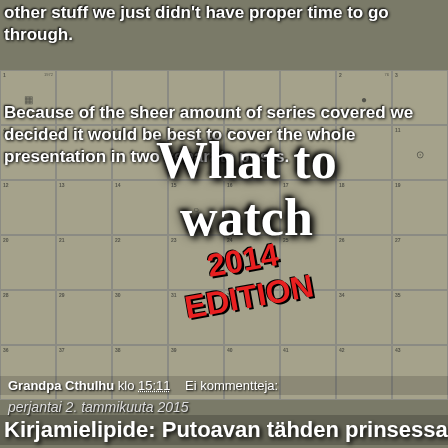other stuff we just didn't have proper time to go through.
Because of the sheer amount of series covered we decided it would be best to cover the whole presentation in two separate posts.
[Figure (infographic): Periodic table-style grid of video game consoles/controllers as background image]
What to watch 2014 EDITION
Grandpa Cthulhu klo 15:11    Ei kommentteja:
perjantai 2. tammikuuta 2015
Kirjamielipide: Putoavan tähden prinsessa